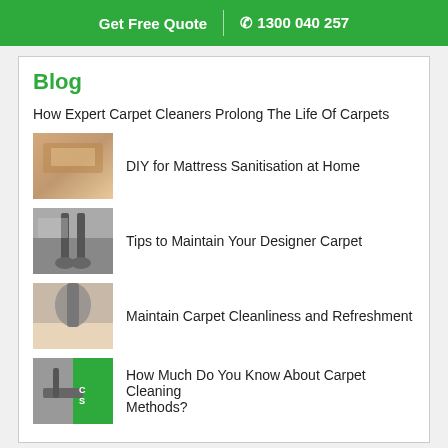Get Free Quote  | ☎ 1300 040 257
Blog
How Expert Carpet Cleaners Prolong The Life Of Carpets
DIY for Mattress Sanitisation at Home
Tips to Maintain Your Designer Carpet
Maintain Carpet Cleanliness and Refreshment
How Much Do You Know About Carpet Cleaning Methods?